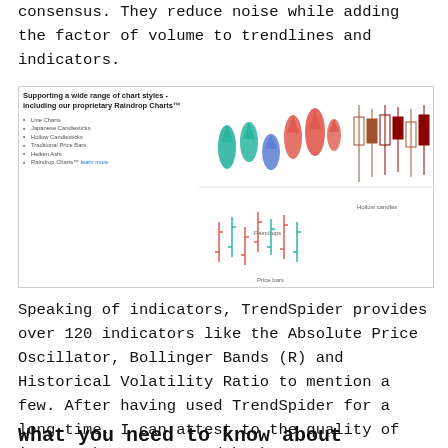consensus. They reduce noise while adding the factor of volume to trendlines and indicators.
[Figure (illustration): A marketing panel showing 'Supporting a wide range of chart styles - including our proprietary Raindrop Charts™' with a list of chart types (Line Charts, Japanese Candlesticks, Hollow Candlesticks, Traditional Price Bars, Heiken Ashi, Raindrop Charts - learn more) on the left and sample chart visuals (Raindrops, Hollow candles, Price bars) on the right.]
Speaking of indicators, TrendSpider provides over 120 indicators like the Absolute Price Oscillator, Bollinger Bands (R) and Historical Volatility Ratio to mention a few. After having used TrendSpider for a long time, I can attest to the quality of its stock screener and backtester, respectively called Market Scanner and Strategy Tester. They're both easy and powerful.
What you need to know about